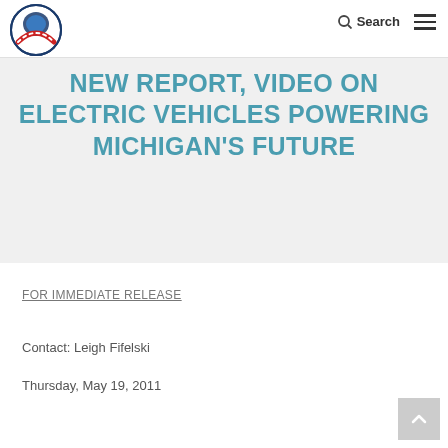Michigan Infrastructure and Transportation Association logo, Search, Menu
NEW REPORT, VIDEO ON ELECTRIC VEHICLES POWERING MICHIGAN'S FUTURE
FOR IMMEDIATE RELEASE
Contact: Leigh Fifelski
Thursday, May 19, 2011